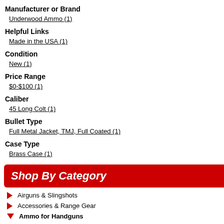Manufacturer or Brand
Underwood Ammo (1)
Helpful Links
Made in the USA (1)
Condition
New (1)
Price Range
$0-$100 (1)
Caliber
45 Long Colt (1)
Bullet Type
Full Metal Jacket, TMJ, Full Coated (1)
Case Type
Brass Case (1)
Shop By Category
Airguns & Slingshots
Accessories & Range Gear
Ammo for Handguns
5.7x28mm
[Figure (photo): Underwood Ammo product image with logo]
5-2633
45 Long Colt
45LC Underwood primer. ...
Displaying 1 to 1 (of 1 products)